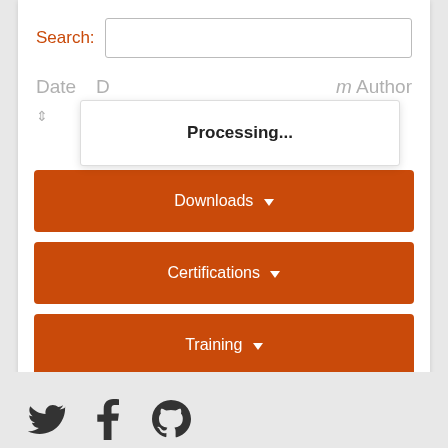Search:
Date   D   m Author
Processing...
Downloads
Certifications
Training
Pro Services
[Figure (other): Social media icons: Twitter bird, Facebook f, GitHub Octocat]